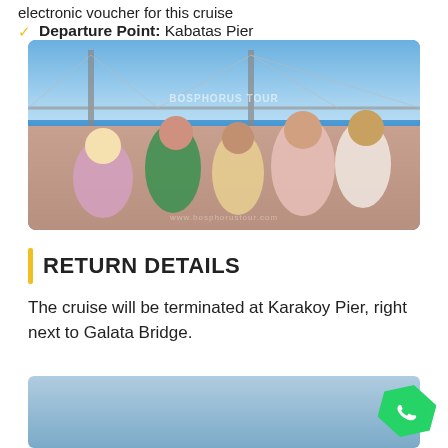electronic voucher for this cruise
Departure Point: Kabatas Pier
[Figure (photo): Group of tourists sitting on the deck of a cruise boat on the Bosphorus with a large suspension bridge in the background and blue sky with clouds. BOSPHORUS TOUR watermark visible.]
RETURN DETAILS
The cruise will be terminated at Karakoy Pier, right next to Galata Bridge.
[Figure (photo): Partial view of another cruise/boat photo, partially cut off at bottom of page.]